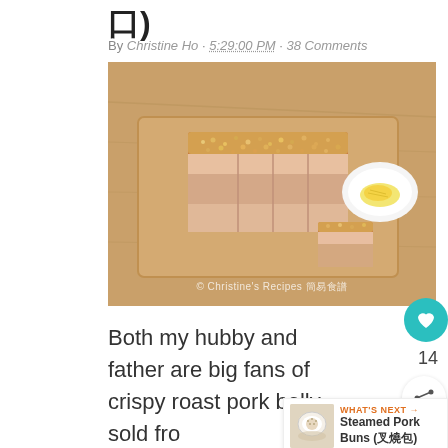口)
By Christine Ho · 5:29:00 PM · 38 Comments
[Figure (photo): Sliced crispy roast pork belly on a wooden cutting board with a small white bowl of yellow condiment, watermarked © Christine's Recipes 簡易食譜]
Both my hubby and father are big fans of crispy roast pork belly, sold fro... Hong Kong bake shops. So I decided to learn how to make some not long after I